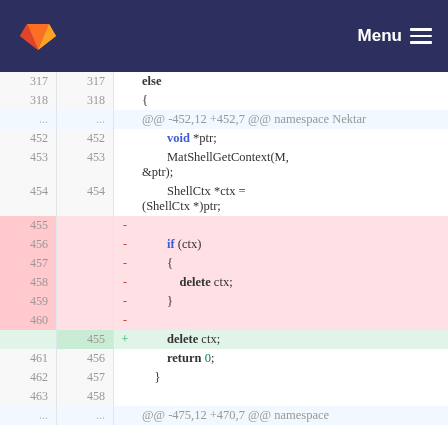GitLab Menu
[Figure (screenshot): GitLab code diff view showing lines 317-463 of a C++ file with deleted and added lines around a conditional delete ctx block]
| old | new | sign | code |
| --- | --- | --- | --- |
| 317 | 317 |  |     else |
| 318 | 318 |  |     { |
| ... | ... |  | @@ -452,12 +452,7 @@ namespace Nektar |
| 452 | 452 |  |     void *ptr; |
| 453 | 453 |  |     MatShellGetContext(M, &ptr); |
| 454 | 454 |  |     ShellCtx *ctx = (ShellCtx *)ptr; |
| 455 |  | - |  |
| 456 |  | - |         if (ctx) |
| 457 |  | - |         { |
| 458 |  | - |             delete ctx; |
| 459 |  | - |         } |
| 460 |  | - |  |
|  | 455 | + |         delete ctx; |
| 461 | 456 |  |         return 0; |
| 462 | 457 |  |     } |
| 463 | 458 |  |  |
| ... | ... |  | @@ -475,12 +470,7 @@ namespace |